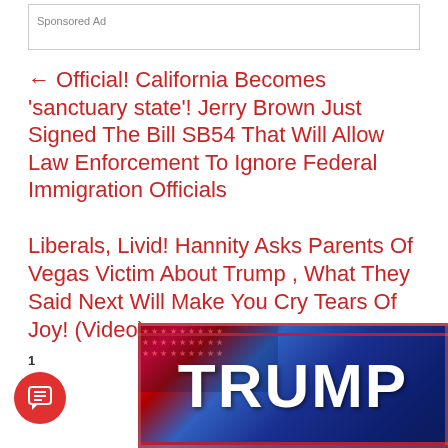Sponsored Ad
← Official! California Becomes ‘sanctuary state’! Jerry Brown Just Signed The Bill SB54 That Will Allow Law Enforcement To Ignore Federal Immigration Officials
Liberals, Livid! Hannity Asks Parents Of Vegas Victim About Trump , What They Said Next Will Make You Cry Tears Of Joy! (Video) →
[Figure (photo): A TRUMP banner/flag with blue background and white lettering, with American flag elements visible]